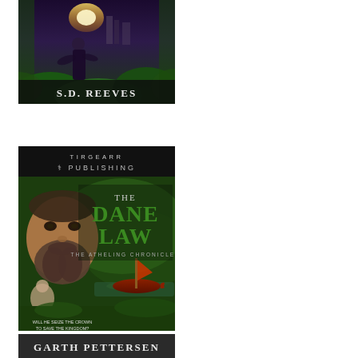[Figure (illustration): Book cover with fantasy art showing a robed figure with glowing light near a castle or ruins, with forest/green foliage. Author name 'S.D. Reeves' displayed at the bottom in white text on dark background.]
[Figure (illustration): Book cover for 'The Dane Law: The Atheling Chronicles' by Garth Pettersen, published by Tirgearr Publishing. Shows a bearded Viking man's face, a woman, and a Viking longship on water against a green misty background. Text at bottom reads 'Will he seize the crown to save the kingdom?' Author name 'Garth Pettersen' at bottom.]